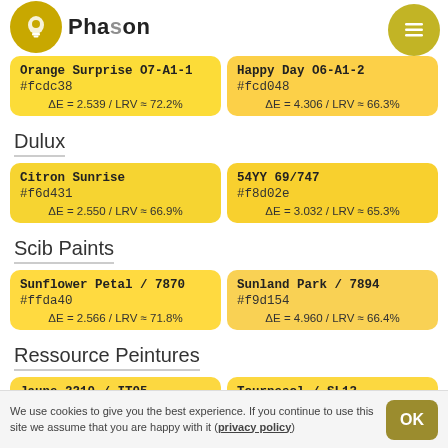Phason
| Color 1 | Color 2 |
| --- | --- |
| Orange Surprise O7-A1-1
#fcdc38
ΔE = 2.539 / LRV ≈ 72.2% | Happy Day O6-A1-2
#fcd048
ΔE = 4.306 / LRV ≈ 66.3% |
Dulux
| Color 1 | Color 2 |
| --- | --- |
| Citron Sunrise
#f6d431
ΔE = 2.550 / LRV ≈ 66.9% | 54YY 69/747
#f8d02e
ΔE = 3.032 / LRV ≈ 65.3% |
Scib Paints
| Color 1 | Color 2 |
| --- | --- |
| Sunflower Petal / 7870
#ffda40
ΔE = 2.566 / LRV ≈ 71.8% | Sunland Park / 7894
#f9d154
ΔE = 4.960 / LRV ≈ 66.4% |
Ressource Peintures
| Color 1 | Color 2 |
| --- | --- |
| Jaune 2210 / IT05 | Tournesol / SL13 |
We use cookies to give you the best experience. If you continue to use this site we assume that you are happy with it (privacy policy)